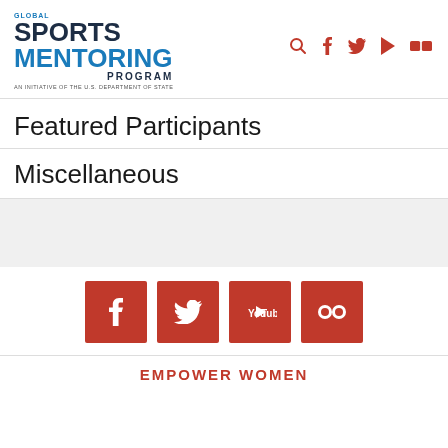[Figure (logo): Global Sports Mentoring Program logo — blue and dark text stacked with tagline 'An Initiative of the U.S. Department of State']
[Figure (infographic): Navigation icons: search, Facebook, Twitter, play/YouTube, Flickr in dark red]
Featured Participants
Miscellaneous
[Figure (infographic): Gray band placeholder section]
[Figure (infographic): Four red social media buttons: Facebook, Twitter, YouTube, Flickr]
EMPOWER WOMEN